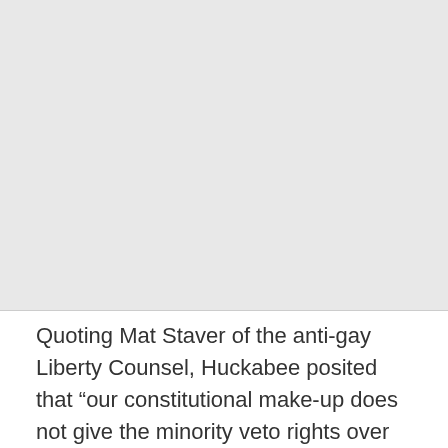[Figure (photo): Large grey/light image area occupying the top portion of the page]
Quoting Mat Staver of the anti-gay Liberty Counsel, Huckabee posited that “our constitutional make-up does not give the minority veto rights over the